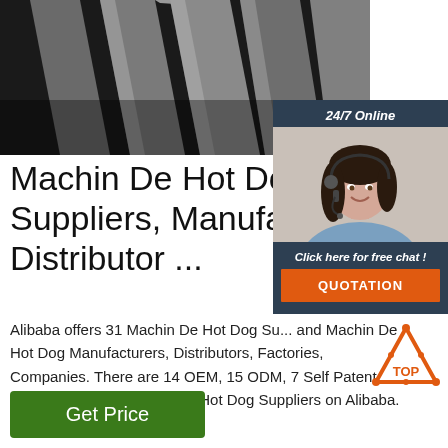[Figure (photo): Steel flat bars or metal stock material stacked, photographed on dark background]
[Figure (infographic): 24/7 Online chat widget with woman wearing headset, 'Click here for free chat!' text, and orange QUOTATION button]
Machin De Hot Dog Suppliers, Manufacturer Distributor ...
Alibaba offers 31 Machin De Hot Dog Suppliers, and Machin De Hot Dog Manufacturers, Distributors, Factories, Companies. There are 14 OEM, 15 ODM, 7 Self Patent. Find high quality Machin De Hot Dog Suppliers on Alibaba.
[Figure (logo): TOP icon — orange triangle with dots and TOP text]
Get Price